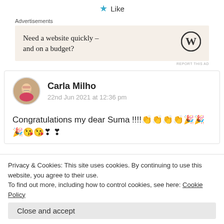★ Like
Advertisements
[Figure (other): Advertisement box with text 'Need a website quickly – and on a budget?' and WordPress logo]
REPORT THIS AD
[Figure (photo): Circular avatar photo of Carla Milho]
Carla Milho
22nd Jun 2021 at 12:36 pm
Congratulations my dear Suma !!!! 👏👏👏👏🎉🎉
🎉😘😘❣ ❣
Privacy & Cookies: This site uses cookies. By continuing to use this website, you agree to their use.
To find out more, including how to control cookies, see here: Cookie Policy
Close and accept